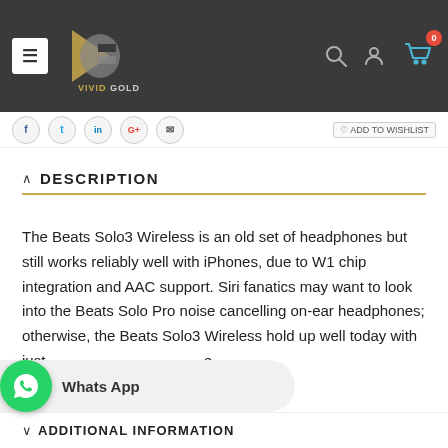[Figure (screenshot): Vivid Gold website header with logo, hamburger menu, search icon, user icon, and shopping cart with badge showing 0]
[Figure (infographic): Social sharing icons row: Facebook, Twitter, LinkedIn, Google+, Email, and Add to Wishlist button]
DESCRIPTION
The Beats Solo3 Wireless is an old set of headphones but still works reliably well with iPhones, due to W1 chip integration and AAC support. Siri fanatics may want to look into the Beats Solo Pro noise cancelling on-ear headphones; otherwise, the Beats Solo3 Wireless hold up well today with just a minor update of price.
[Figure (screenshot): WhatsApp contact widget with green circle icon and 'Whats App' label]
ADDITIONAL INFORMATION